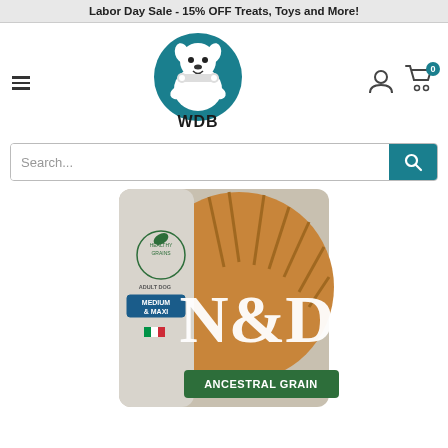Labor Day Sale - 15% OFF Treats, Toys and More!
[Figure (logo): WDB (World Dog Boutique) logo - cartoon dog holding bones with teal background and WDB text]
[Figure (photo): Farmina N&D Ancestral Grain Adult Dog Medium & Maxi dry dog food bag with wheat/grain imagery and green label at bottom]
Search...